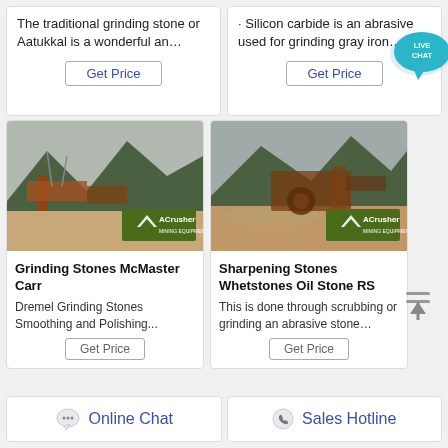The traditional grinding stone or Aatukkal is a wonderful an…
· Silicon carbide is an abrasive used for grinding gray iron…
[Figure (screenshot): Live Chat bubble icon - teal speech bubble with 'LIVE CHAT' text]
[Figure (photo): Mining/crushing equipment site with mountains in background, ACrusher Mining Equipment logo overlay]
[Figure (photo): Mining/crushing equipment site with mountains in background, ACrusher Mining Equipment logo overlay]
Grinding Stones McMaster Carr
Sharpening Stones Whetstones Oil Stone RS
Dremel Grinding Stones Smoothing and Polishing...
This is done through scrubbing or grinding an abrasive stone…
Online Chat
Sales Hotline